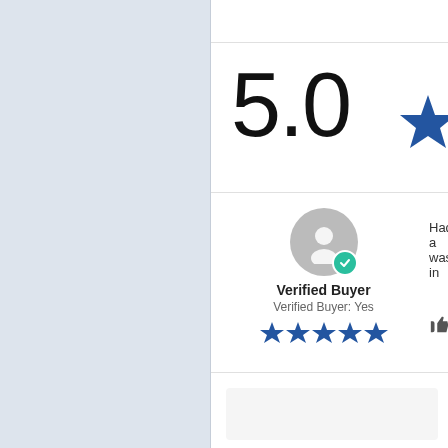[Figure (screenshot): Left panel with light blue-gray background, part of a product review page UI]
5.0
[Figure (illustration): Blue star rating icon (large, partially cropped on right)]
[Figure (illustration): Verified Buyer avatar with teal checkmark badge]
Verified Buyer
Verified Buyer: Yes
[Figure (illustration): 5 blue stars rating]
Had a was in
[Figure (illustration): Thumbs up icon and another icon]